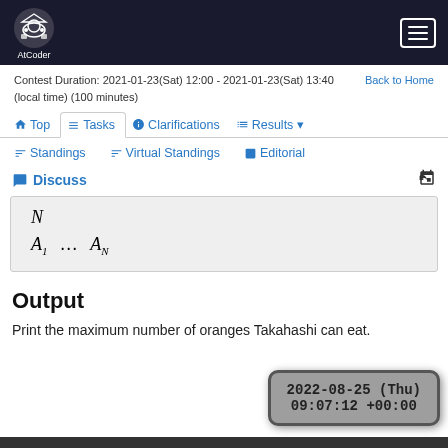AtCoder
Contest Duration: 2021-01-23(Sat) 12:00 - 2021-01-23(Sat) 13:40 (local time) (100 minutes)
Back to Home
Top | Tasks | Clarifications | Results | Standings | Virtual Standings | Editorial | Discuss
Output
Print the maximum number of oranges Takahashi can eat.
2022-08-25 (Thu) 09:07:12 +00:00